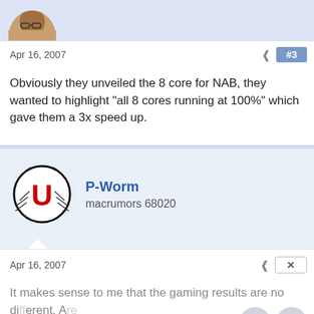[Figure (photo): User avatar at top of page - partial view of a person's face/head]
Apr 16, 2007
#3
Obviously they unveiled the 8 core for NAB, they wanted to highlight "all 8 cores running at 100%" which gave them a 3x speed up.
[Figure (logo): University of Utah Utes logo - red U with feathers in a black circle]
P-Worm
macrumors 68020
Apr 16, 2007
It makes sense to me that the gaming results are no different. Are there many games that even utilize multiple cores?